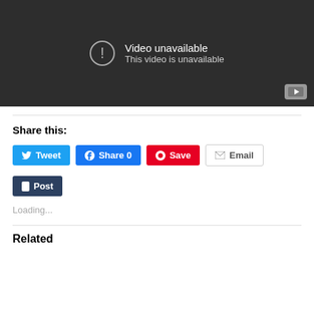[Figure (screenshot): Embedded video player showing 'Video unavailable - This video is unavailable' message on dark background with YouTube logo icon in bottom right corner]
Share this:
Tweet  Share 0  Save  Email
Post
Loading...
Related